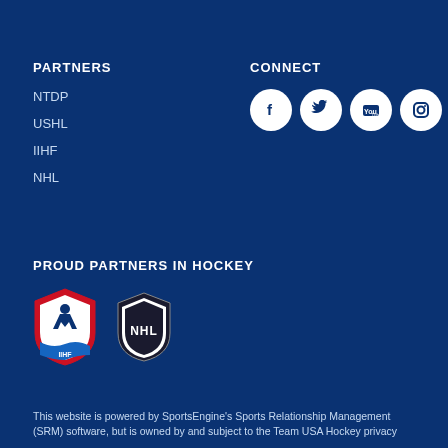PARTNERS
NTDP
USHL
IIHF
NHL
CONNECT
[Figure (infographic): Social media icons: Facebook, Twitter, YouTube, Instagram — white circles on dark blue background]
PROUD PARTNERS IN HOCKEY
[Figure (logo): IIHF logo — red and white shield with hockey player and blue wave, IIHF text at bottom]
[Figure (logo): NHL shield logo — black and white shield with NHL text]
This website is powered by SportsEngine's Sports Relationship Management (SRM) software, but is owned by and subject to the Team USA Hockey privacy